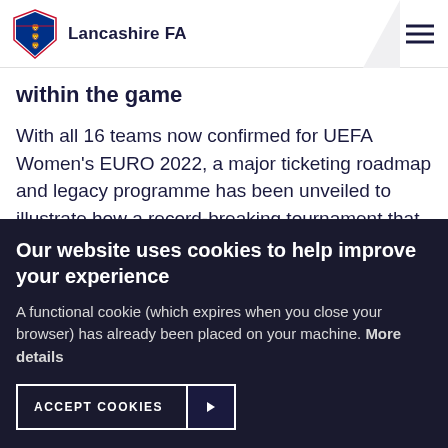Lancashire FA
within the game
With all 16 teams now confirmed for UEFA Women's EURO 2022, a major ticketing roadmap and legacy programme has been unveiled to illustrate how a record-breaking tournament that has the power to inspire the next generation of players and fans, will be delivered on home soil.
Our website uses cookies to help improve your experience
A functional cookie (which expires when you close your browser) has already been placed on your machine. More details